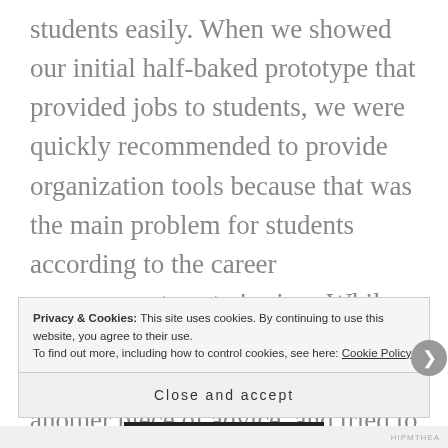students easily. When we showed our initial half-baked prototype that provided jobs to students, we were quickly recommended to provide organization tools because that was the main problem for students according to the career management center's view. While they might be right in their own respect, we should have taken it as another piece of advice, and tried to find it from students themselves. But, we took it as the truth as we held the career management to know-it-all source about students' pain point when it comes to job search.
Privacy & Cookies: This site uses cookies. By continuing to use this website, you agree to their use. To find out more, including how to control cookies, see here: Cookie Policy
Close and accept